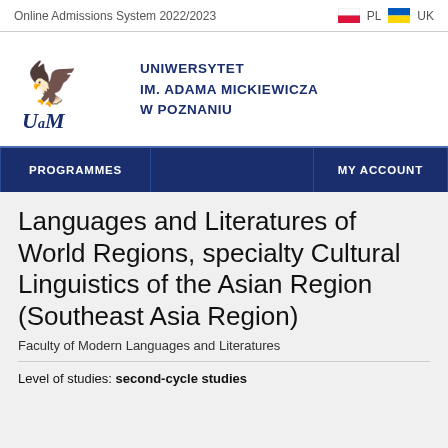Online Admissions System 2022/2023   PL   UK
[Figure (logo): Adam Mickiewicz University (UAM) logo with eagle emblem and text: Uniwersytet im. Adama Mickiewicza w Poznaniu]
PROGRAMMES   MY ACCOUNT
Languages and Literatures of World Regions, specialty Cultural Linguistics of the Asian Region (Southeast Asia Region)
Faculty of Modern Languages and Literatures
Level of studies: second-cycle studies